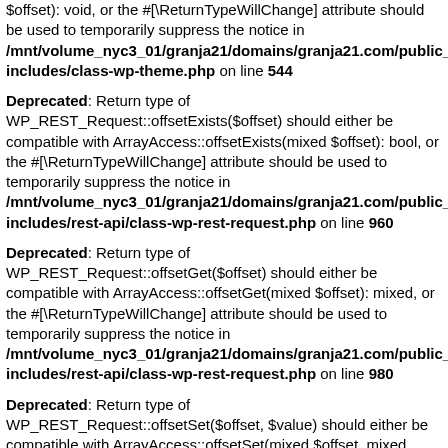$offset): void, or the #[\ReturnTypeWillChange] attribute should be used to temporarily suppress the notice in /mnt/volume_nyc3_01/granja21/domains/granja21.com/public_h includes/class-wp-theme.php on line 544
Deprecated: Return type of WP_REST_Request::offsetExists($offset) should either be compatible with ArrayAccess::offsetExists(mixed $offset): bool, or the #[\ReturnTypeWillChange] attribute should be used to temporarily suppress the notice in /mnt/volume_nyc3_01/granja21/domains/granja21.com/public_h includes/rest-api/class-wp-rest-request.php on line 960
Deprecated: Return type of WP_REST_Request::offsetGet($offset) should either be compatible with ArrayAccess::offsetGet(mixed $offset): mixed, or the #[\ReturnTypeWillChange] attribute should be used to temporarily suppress the notice in /mnt/volume_nyc3_01/granja21/domains/granja21.com/public_h includes/rest-api/class-wp-rest-request.php on line 980
Deprecated: Return type of WP_REST_Request::offsetSet($offset, $value) should either be compatible with ArrayAccess::offsetSet(mixed $offset, mixed $value): void, or the #[\ReturnTypeWillChange] attribute should be used to